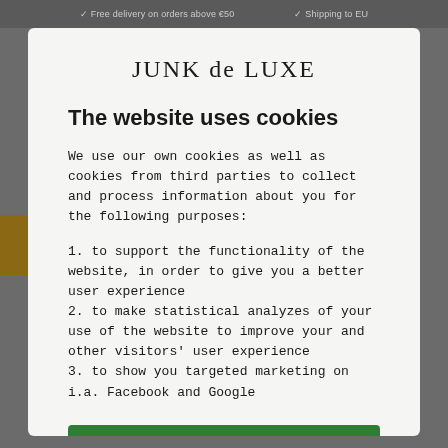Free delivery on orders above €50   Shipping to EU
JUNK de LUXE
The website uses cookies
We use our own cookies as well as cookies from third parties to collect and process information about you for the following purposes:
1. to support the functionality of the website, in order to give you a better user experience
2. to make statistical analyzes of your use of the website to improve your and other visitors' user experience
3. to show you targeted marketing on i.a. Facebook and Google
OK
Show details